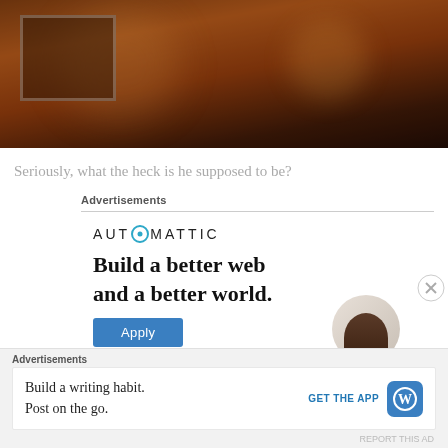[Figure (photo): Dark warm-toned photo of a person at an event, partially lit, holding something, with a framed item visible in background.]
Seriously, what the heck is he supposed to be?
Advertisements
[Figure (screenshot): Automattic advertisement: logo 'AUTOMATTIC' with circular O, headline 'Build a better web and a better world.', blue Apply button, and a circular portrait of a person on the right. A close (X) button appears on the far right.]
Advertisements
[Figure (screenshot): WordPress mobile app advertisement: 'Build a writing habit. Post on the go.' with a 'GET THE APP' link and WordPress logo icon. Report This Ad text at bottom right.]